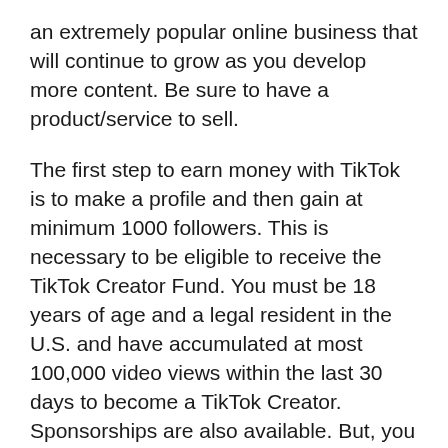an extremely popular online business that will continue to grow as you develop more content. Be sure to have a product/service to sell.
The first step to earn money with TikTok is to make a profile and then gain at minimum 1000 followers. This is necessary to be eligible to receive the TikTok Creator Fund. You must be 18 years of age and a legal resident in the U.S. and have accumulated at most 100,000 video views within the last 30 days to become a TikTok Creator. Sponsorships are also available. But, you must think about your niche carefully, since the rewards aren't enough when compared to your regular paycheck.